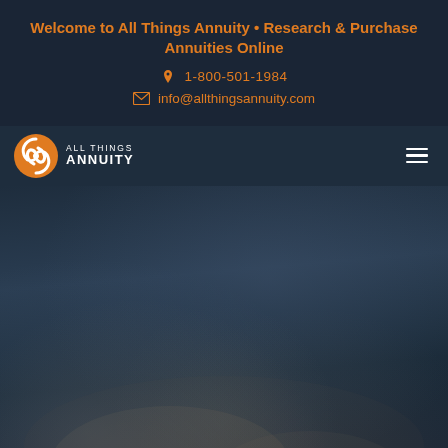Welcome to All Things Annuity • Research & Purchase Annuities Online
1-800-501-1984
info@allthingsannuity.com
[Figure (logo): All Things Annuity logo — circular orange and white swirl icon with text ALL THINGS ANNUITY]
[Figure (photo): Dark blurred background photo showing hands on a laptop keyboard, serving as a hero image for the website]